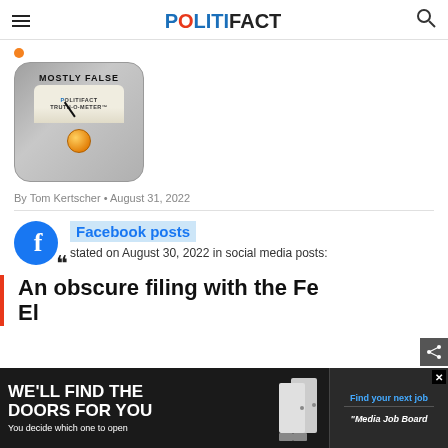POLITIFACT
[Figure (illustration): PolitiFact Truth-O-Meter gauge showing 'Mostly False' rating with orange indicator light]
By Tom Kertscher • August 31, 2022
Facebook posts stated on August 30, 2022 in social media posts:
An obscure filing with the Fec... El...
[Figure (screenshot): Advertisement banner: WE'LL FIND THE DOORS FOR YOU / You decide which one to open / Find your next job / Media Job Board]